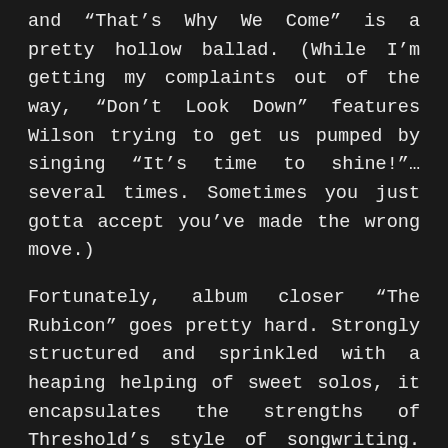and “That’s Why We Come” is a pretty hollow ballad. (While I’m getting my complaints out of the way, “Don’t Look Down” features Wilson trying to get us pumped by singing “It’s time to shine!”… several times. Sometimes you just gotta accept you’ve made the wrong move.)
Fortunately, album closer “The Rubicon” goes pretty hard. Strongly structured and sprinkled with a heaping helping of sweet solos, it encapsulates the strengths of Threshold’s style of songwriting. And although it’s a style that’s been around for a long time, it’s a style they pull off with aplomb. [signoff predefined=“Signoff 1″][/signoff]